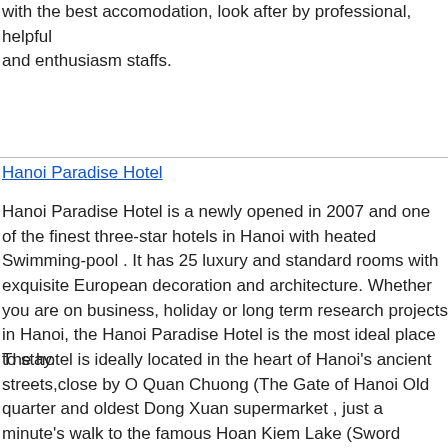with the best accomodation, look after by professional, helpful and enthusiasm staffs.
Hanoi Paradise Hotel
Hanoi Paradise Hotel is a newly opened in 2007 and one of the finest three-star hotels in Hanoi with heated Swimming-pool . It has 25 luxury and standard rooms with exquisite European decoration and architecture. Whether you are on business, holiday or long term research projects in Hanoi, the Hanoi Paradise Hotel is the most ideal place to stay.
The hotel is ideally located in the heart of Hanoi's ancient streets,close by O Quan Chuong (The Gate of Hanoi Old quarter and oldest Dong Xuan supermarket , just a minute's walk to the famous Hoan Kiem Lake (Sword Restored). It is very convenient for guests with shopping and banking needs...